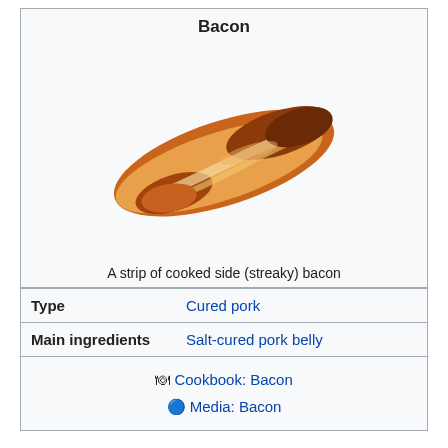Bacon
[Figure (photo): A strip of cooked side (streaky) bacon, diagonal orientation, crispy texture with brown and golden tones.]
A strip of cooked side (streaky) bacon
| Type | Cured pork |
| Main ingredients | Salt-cured pork belly |
🍽 Cookbook: Bacon
🔵 Media: Bacon
Bacon is also used for barding and larding roasts, especially game, including venison and pheasant, and may also be used to insulate or flavour roast joints by